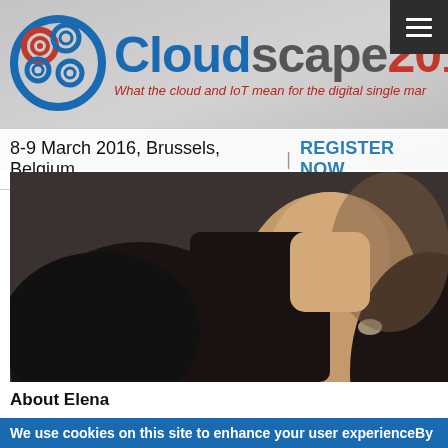[Figure (logo): Cloudscape2016 logo with spiral cloud icon, tagline: What the cloud and IoT mean for the digital single mar...]
8-9 March 2016, Brussels, Belgium | REGISTER NOW
[Figure (photo): Close-up photo of a woman in a dark jacket with a necklace, cropped at shoulders]
About Elena
Elena Bonfiglioli leads the Health Industry business for Microsoft in Europe, Middle East, and Africa and she is a part of the World Wide Public Sector Health Team.  In this role, she
We use cookies on this site to enhance your user experienceBy